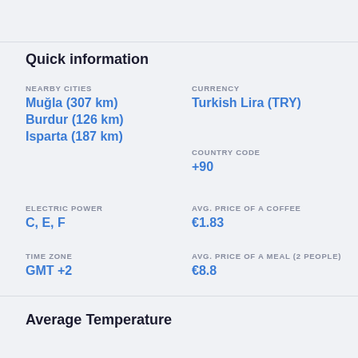Quick information
NEARBY CITIES
Muğla (307 km)
Burdur (126 km)
Isparta (187 km)
CURRENCY
Turkish Lira (TRY)
COUNTRY CODE
+90
ELECTRIC POWER
C, E, F
AVG. PRICE OF A COFFEE
€1.83
TIME ZONE
GMT +2
AVG. PRICE OF A MEAL (2 PEOPLE)
€8.8
Average Temperature